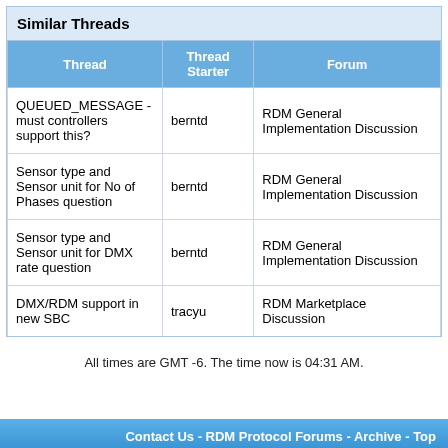Similar Threads
| Thread | Thread Starter | Forum |
| --- | --- | --- |
| QUEUED_MESSAGE - must controllers support this? | berntd | RDM General Implementation Discussion |
| Sensor type and Sensor unit for No of Phases question | berntd | RDM General Implementation Discussion |
| Sensor type and Sensor unit for DMX rate question | berntd | RDM General Implementation Discussion |
| DMX/RDM support in new SBC | tracyu | RDM Marketplace Discussion |
All times are GMT -6. The time now is 04:31 AM.
Contact Us - RDM Protocol Forums - Archive - Top